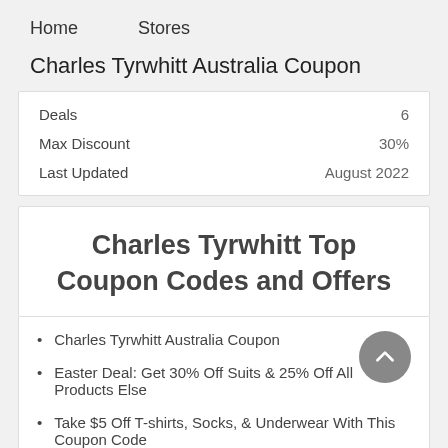Home    Stores
Charles Tyrwhitt Australia Coupon
|  |  |
| --- | --- |
| Deals | 6 |
| Max Discount | 30% |
| Last Updated | August 2022 |
Charles Tyrwhitt Top Coupon Codes and Offers
Charles Tyrwhitt Australia Coupon
Easter Deal: Get 30% Off Suits & 25% Off All Products Else
Take $5 Off T-shirts, Socks, & Underwear With This Coupon Code